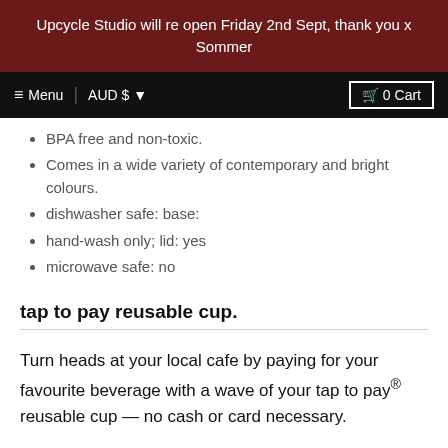Upcycle Studio will re open Friday 2nd Sept, thank you x Sommer
≡ Menu  AUD $  0 Cart
BPA free and non-toxic.
Comes in a wide variety of contemporary and bright colours.
dishwasher safe: base:
hand-wash only; lid: yes
microwave safe: no
tap to pay reusable cup.
Turn heads at your local cafe by paying for your favourite beverage with a wave of your tap to pay® reusable cup — no cash or card necessary.